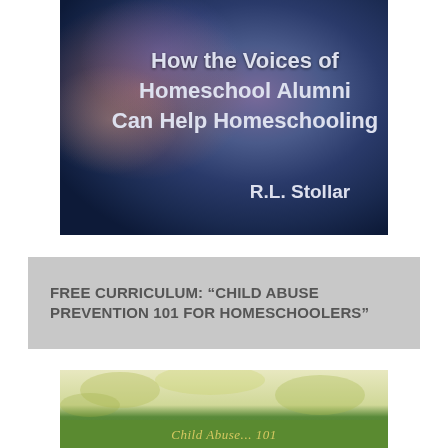[Figure (photo): Book cover with dark blue/purple gradient background and light bokeh effects. Title text in white bold font reads 'How the Voices of Homeschool Alumni Can Help Homeschooling' with author 'R.L. Stollar' at the bottom right.]
FREE CURRICULUM: “CHILD ABUSE PREVENTION 101 FOR HOMESCHOOLERS”
[Figure (photo): Partially visible book cover with yellow-green/nature background (leaves/foliage) and a green bar at the bottom with italic text 'Child Abuse... 101' partially visible.]